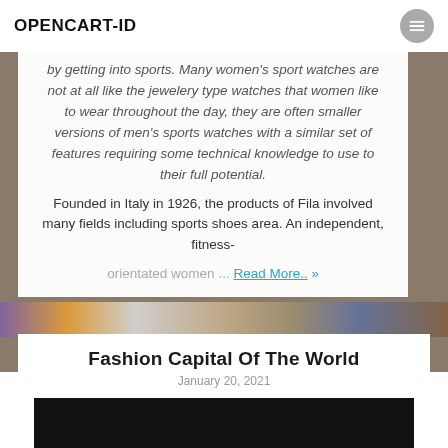OPENCART-ID
by getting into sports. Many women's sport watches are not at all like the jewelery type watches that women like to wear throughout the day, they are often smaller versions of men's sports watches with a similar set of features requiring some technical knowledge to use to their full potential.
Founded in Italy in 1926, the products of Fila involved many fields including sports shoes area. An independent, fitness-orientated women ... Read More.. »
Fashion Capital Of The World
January 20, 2021
[Figure (photo): Dark image placeholder at bottom of page]